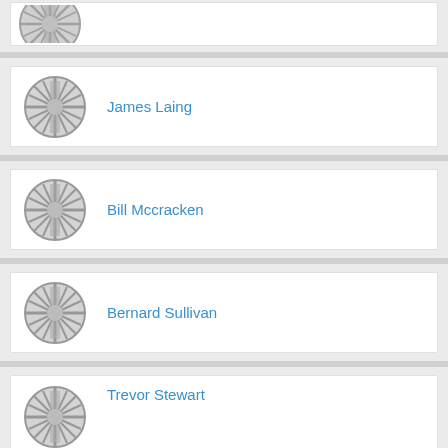[Figure (illustration): Partial profile card with generic avatar icon (top of page, cropped)]
James Laing
Bill Mccracken
Bernard Sullivan
Trevor Stewart